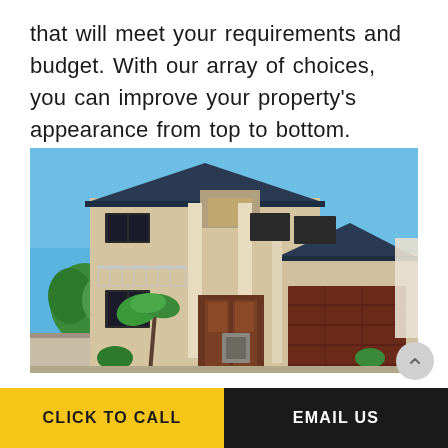that will meet your requirements and budget. With our array of choices, you can improve your property's appearance from top to bottom.
[Figure (photo): A two-storey residential house with a large garage, blue sky background, palm trees and garden in front. The house has a cream/beige exterior with dark navy blue roof, a balcony with glass railing on the upper level, wooden front doors, and a large dark brown garage roller door on the right side.]
CLICK TO CALL
EMAIL US